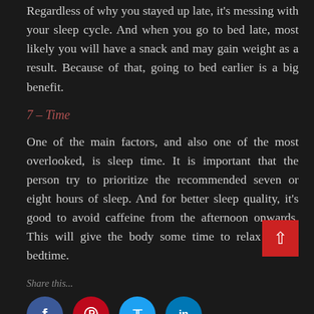Regardless of why you stayed up late, it's messing with your sleep cycle. And when you go to bed late, most likely you will have a snack and may gain weight as a result. Because of that, going to bed earlier is a big benefit.
7 – Time
One of the main factors, and also one of the most overlooked, is sleep time. It is important that the person try to prioritize the recommended seven or eight hours of sleep. And for better sleep quality, it's good to avoid caffeine from the afternoon onwards. This will give the body some time to relax before bedtime.
Share this...
[Figure (infographic): Social media sharing icons: Facebook (blue circle), Pinterest (red circle), Twitter (light blue circle), LinkedIn (dark blue circle)]